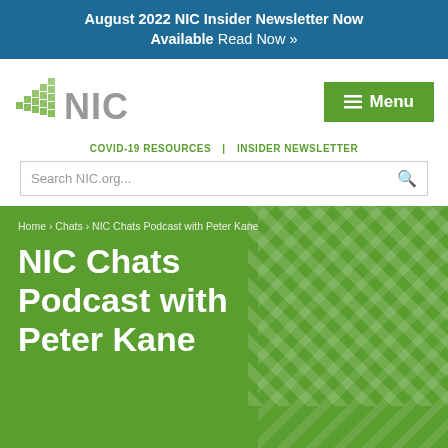August 2022 NIC Insider Newsletter Now Available Read Now »
[Figure (logo): NIC logo with stylized green grid icon and NIC text in gray]
Menu
COVID-19 RESOURCES | INSIDER NEWSLETTER
Search NIC.org...
Home › Chats › NIC Chats Podcast with Peter Kane
NIC Chats Podcast with Peter Kane